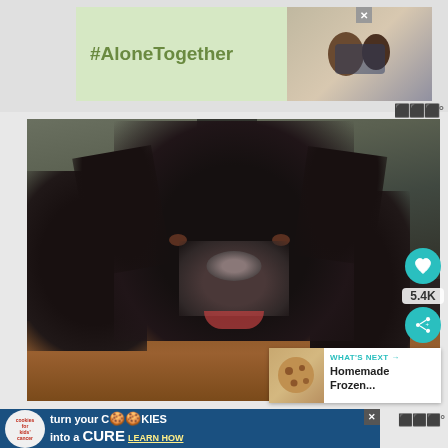[Figure (screenshot): Top advertisement banner with green background showing '#AloneTogether' text and a photo of a man and child on a video call]
[Figure (photo): Close-up photo of a large black Newfoundland dog looking at the camera, lying on a hardwood floor with a blurred indoor background]
5.4K
WHAT'S NEXT → Homemade Frozen...
[Figure (screenshot): Bottom advertisement banner for 'Cookies for Kids Cancer' with text 'turn your cookies into a CURE LEARN HOW']